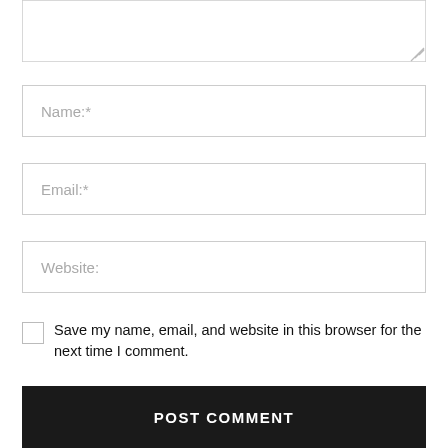[Figure (screenshot): Textarea input box (top, partially visible) with resize handle at bottom-right]
Name:*
Email:*
Website:
Save my name, email, and website in this browser for the next time I comment.
POST COMMENT